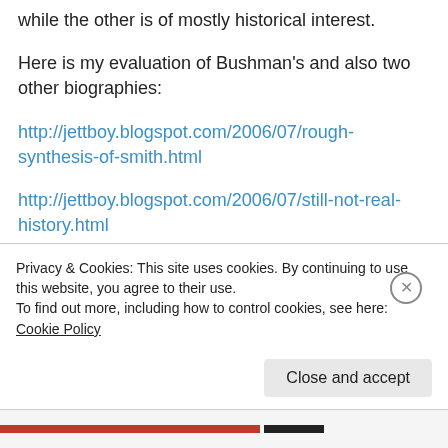while the other is of mostly historical interest.
Here is my evaluation of Bushman's and also two other biographies:
http://jettboy.blogspot.com/2006/07/rough-synthesis-of-smith.html
http://jettboy.blogspot.com/2006/07/still-not-real-history.html
http://jettboy.blogspot.com/2006/07/underrated-joseph.html
Privacy & Cookies: This site uses cookies. By continuing to use this website, you agree to their use.
To find out more, including how to control cookies, see here: Cookie Policy